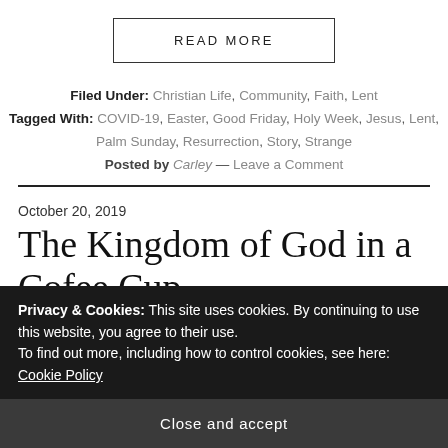READ MORE
Filed Under: Christian Life, Community, Faith, Lent
Tagged With: COVID-19, Easter, Good Friday, Holy Week, Jesus, Lent, Palm Sunday, Resurrection, Story, Strange
Posted by Carley — Leave a Comment
October 20, 2019
The Kingdom of God in a Cofee Cup
Privacy & Cookies: This site uses cookies. By continuing to use this website, you agree to their use.
To find out more, including how to control cookies, see here: Cookie Policy
Close and accept